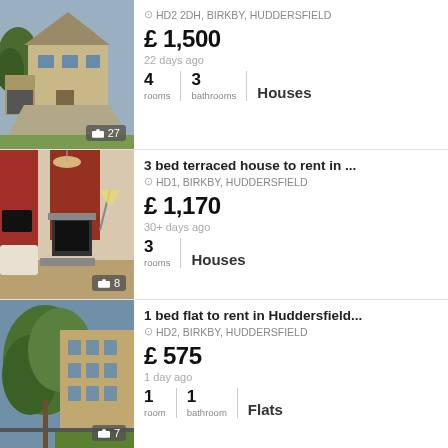[Figure (photo): Exterior photo of a large stone detached house with garage, driveway. Photo count badge: 27]
HD2 2DH, BIRKBY, HUDDERSFIELD
£ 1,500
22 days ago
4 rooms | 3 bathrooms | Houses
[Figure (photo): Interior photo of a living room with red accent walls, fireplace, chandelier. Photo count badge: 8]
3 bed terraced house to rent in ...
HD1, BIRKBY, HUDDERSFIELD
£ 1,170
30+ days ago
3 rooms | Houses
[Figure (photo): Exterior photo of a brick apartment block surrounded by trees. Photo count badge: 7]
1 bed flat to rent in Huddersfield...
HD2, BIRKBY, HUDDERSFIELD
£ 575
1 day ago
1 room | 1 bathroom | Flats